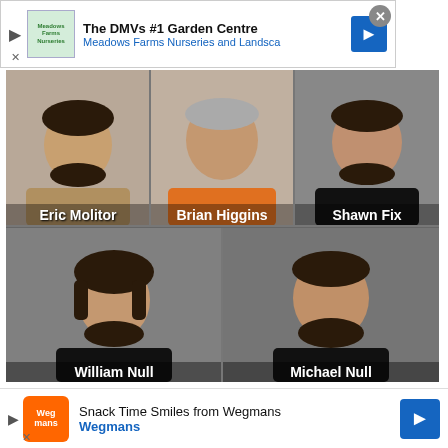[Figure (screenshot): Advertisement banner: The DMVs #1 Garden Centre - Meadows Farms Nurseries and Landsca]
[Figure (photo): Composite mugshot photo of five men: Eric Molitor (top left), Brian Higgins (top center, orange shirt), Shawn Fix (top right), William Null (bottom left), Michael Null (bottom right). Names appear as white text labels on each photo.]
Five Men Begin Pre-Lim Exam for State Whitmer Kidnapping Charges
[Figure (screenshot): Advertisement banner: Snack Time Smiles from Wegmans - Wegmans]